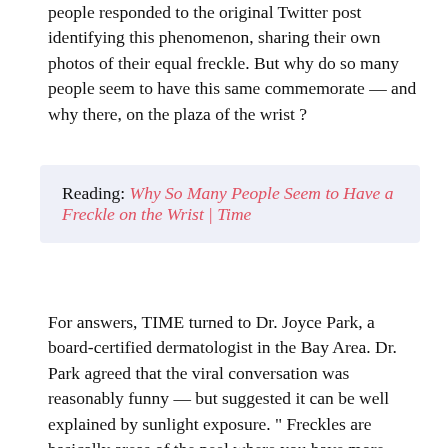people responded to the original Twitter post identifying this phenomenon, sharing their own photos of their equal freckle. But why do so many people seem to have this same commemorate — and why there, on the plaza of the wrist ?
Reading: Why So Many People Seem to Have a Freckle on the Wrist | Time
For answers, TIME turned to Dr. Joyce Park, a board-certified dermatologist in the Bay Area. Dr. Park agreed that the viral conversation was reasonably funny — but suggested it can be well explained by sunlight exposure. " Freckles are basically areas of the peel where you have more pigment or melanin deposition from UV radiation sickness, " she says. " The forearms, the wrists and the hands are actually park spots to get that photograph. If you think about it, when you ' re drive, that side of your wrist and hand are just constantly being exposed to sunlight, even if